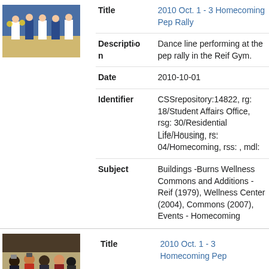[Figure (photo): Thumbnail photo of cheerleaders/dance line performing]
| Field | Value |
| --- | --- |
| Title | 2010 Oct. 1 - 3 Homecoming Pep Rally |
| Description | Dance line performing at the pep rally in the Reif Gym. |
| Date | 2010-10-01 |
| Identifier | CSSrepository:14822, rg: 18/Student Affairs Office, rsg: 30/Residential Life/Housing, rs: 04/Homecoming, rss: , mdl: |
| Subject | Buildings -Burns Wellness Commons and Additions - Reif (1979), Wellness Center (2004), Commons (2007), Events - Homecoming |
[Figure (photo): Thumbnail photo of people at homecoming pep rally]
Title  2010 Oct. 1 - 3 Homecoming Pep